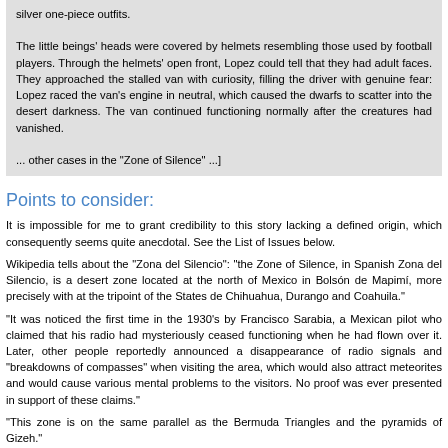silver one-piece outfits.

The little beings' heads were covered by helmets resembling those used by football players. Through the helmets' open front, Lopez could tell that they had adult faces. They approached the stalled van with curiosity, filling the driver with genuine fear: Lopez raced the van's engine in neutral, which caused the dwarfs to scatter into the desert darkness. The van continued functioning normally after the creatures had vanished.

... other cases in the "Zone of Silence" ...]
Points to consider:
It is impossible for me to grant credibility to this story lacking a defined origin, which consequently seems quite anecdotal. See the List of Issues below.
Wikipedia tells about the "Zona del Silencio": "the Zone of Silence, in Spanish Zona del Silencio, is a desert zone located at the north of Mexico in Bolsón de Mapimí, more precisely with at the tripoint of the States de Chihuahua, Durango and Coahuila."
"It was noticed the first time in the 1930's by Francisco Sarabia, a Mexican pilot who claimed that his radio had mysteriously ceased functioning when he had flown over it. Later, other people reportedly announced a disappearance of radio signals and "breakdowns of compasses" when visiting the area, which would also attract meteorites and would cause various mental problems to the visitors. No proof was ever presented in support of these claims."
"This zone is on the same parallel as the Bermuda Triangles and the pyramids of Gizeh."